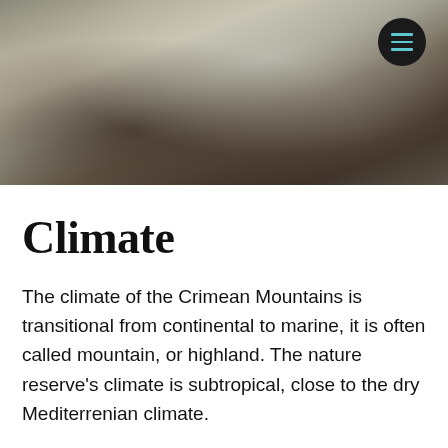[Figure (photo): Blurred landscape photo of mountains or misty terrain with dark tones at bottom and lighter grey tones in the middle, a dark circular menu button with teal/cyan hamburger icon in the top right corner.]
Climate
The climate of the Crimean Mountains is transitional from continental to marine, it is often called mountain, or highland. The nature reserve's climate is subtropical, close to the dry Mediterrenian climate.